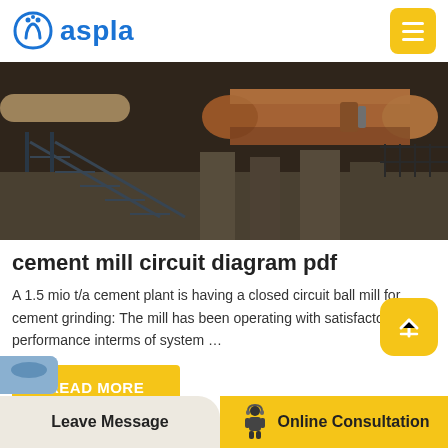aspla
[Figure (photo): Industrial cement plant with large cylindrical pipes/rotary kilns, metal staircases and framework, dark industrial setting]
cement mill circuit diagram pdf
A 1.5 mio t/a cement plant is having a closed circuit ball mill for cement grinding: The mill has been operating with satisfactory performance interms of system …
READ MORE
Leave Message   Online Consultation